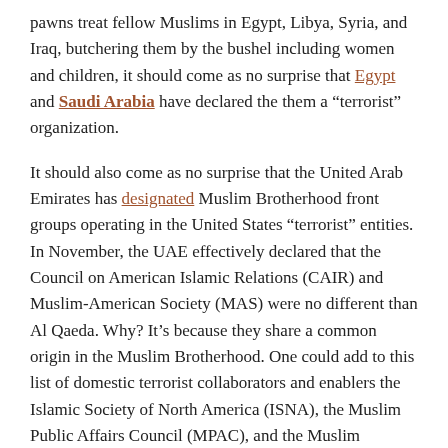pawns treat fellow Muslims in Egypt, Libya, Syria, and Iraq, butchering them by the bushel including women and children, it should come as no surprise that Egypt and Saudi Arabia have declared the them a “terrorist” organization.
It should also come as no surprise that the United Arab Emirates has designated Muslim Brotherhood front groups operating in the United States “terrorist” entities. In November, the UAE effectively declared that the Council on American Islamic Relations (CAIR) and Muslim-American Society (MAS) were no different than Al Qaeda. Why? It’s because they share a common origin in the Muslim Brotherhood. One could add to this list of domestic terrorist collaborators and enablers the Islamic Society of North America (ISNA), the Muslim Public Affairs Council (MPAC), and the Muslim Students Association (MSA).
A New HQ in America
Equally alarmingly, all-American institutions such as Georgetown University and the Brookings Institution have